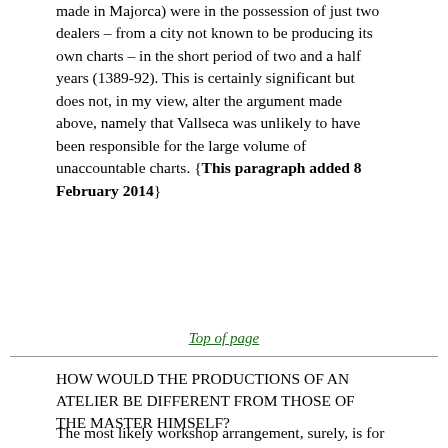made in Majorca) were in the possession of just two dealers – from a city not known to be producing its own charts – in the short period of two and a half years (1389-92). This is certainly significant but does not, in my view, alter the argument made above, namely that Vallseca was unlikely to have been responsible for the large volume of unaccountable charts. {This paragraph added 8 February 2014}
Top of page
HOW WOULD THE PRODUCTIONS OF AN ATELIER BE DIFFERENT FROM THOSE OF THE MASTER HIMSELF?
The most likely workshop arrangement, surely, is for type (2)